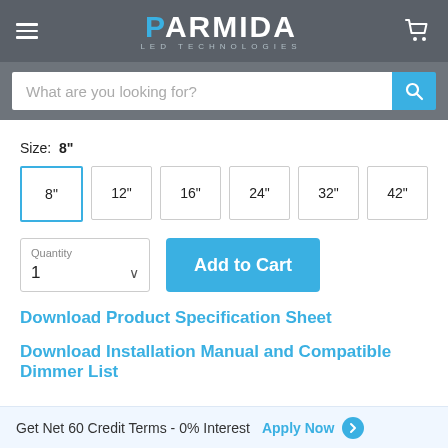[Figure (screenshot): Parmida LED Technologies website header with hamburger menu, logo, and cart icon on dark grey background]
[Figure (screenshot): Search bar with placeholder 'What are you looking for?' and blue search button]
Size: 8"
8" (selected, blue border)
12"
16"
24"
32"
42"
Quantity: 1 (dropdown), Add to Cart button
Download Product Specification Sheet
Download Installation Manual and Compatible Dimmer List
Get Net 60 Credit Terms - 0% Interest Apply Now